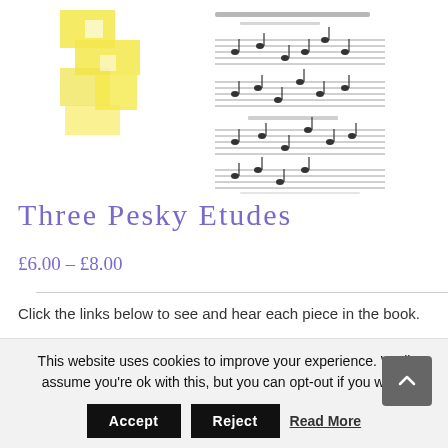[Figure (illustration): Product preview image of sheet music with yellow highlighter blocks on left and musical notation on right portion]
Three Pesky Etudes
£6.00 – £8.00
Click the links below to see and hear each piece in the book.
This website uses cookies to improve your experience. We'll assume you're ok with this, but you can opt-out if you wish.